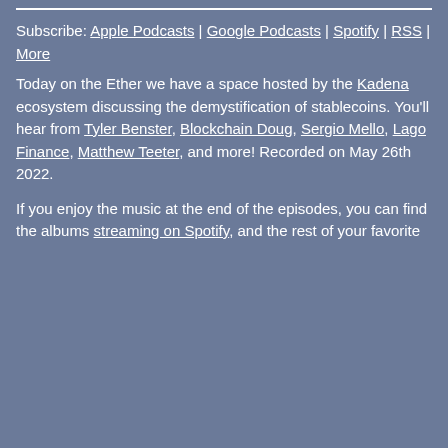Subscribe: Apple Podcasts | Google Podcasts | Spotify | RSS | More
Today on the Ether we have a space hosted by the Kadena ecosystem discussing the demystification of stablecoins. You'll hear from Tyler Benster, Blockchain Doug, Sergio Mello, Lago Finance, Matthew Teeter, and more! Recorded on May 26th 2022.
If you enjoy the music at the end of the episodes, you can find the albums streaming on Spotify, and the rest of your favorite